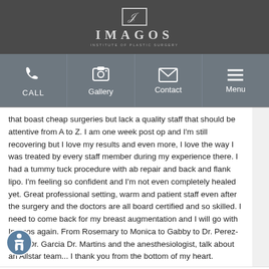[Figure (logo): Imagos Institute of Plastic Surgery logo with stylized I icon]
[Figure (infographic): Navigation bar with Call, Gallery, Contact, and Menu icons]
that boast cheap surgeries but lack a quality staff that should be attentive from A to Z. I am one week post op and I'm still recovering but I love my results and even more, I love the way I was treated by every staff member during my experience there. I had a tummy tuck procedure with ab repair and back and flank lipo. I'm feeling so confident and I'm not even completely healed yet. Great professional setting, warm and patient staff even after the surgery and the doctors are all board certified and so skilled. I need to come back for my breast augmentation and I will go with Imagos again. From Rosemary to Monica to Gabby to Dr. Perez-Gurri Dr. Garcia Dr. Martins and the anesthesiologist, talk about an Allstar team... I thank you from the bottom of my heart.
July 21, 2022 on google.com